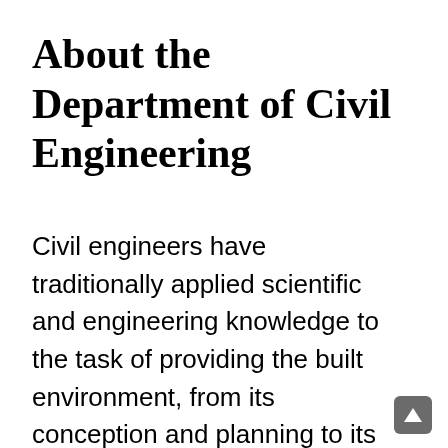About the Department of Civil Engineering
Civil engineers have traditionally applied scientific and engineering knowledge to the task of providing the built environment, from its conception and planning to its design, construction, maintenance, rehabilitation, and sustainability. Examples include buildings; bridges; roads; railways; dams; facilities for